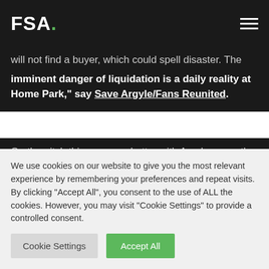FSA.
will not find a buyer, which could spell disaster. The imminent danger of liquidation is a daily reality at Home Park," say Save Argyle/Fans Reunited.
On the pitch things are no better with Argyle currently rock bottom of the Football League having sacked manager Peter Reid on Sunday following eight successive defeats. It is with this background that fans of Brighton and Hove Albion came
We use cookies on our website to give you the most relevant experience by remembering your preferences and repeat visits. By clicking "Accept All", you consent to the use of ALL the cookies. However, you may visit "Cookie Settings" to provide a controlled consent.
Cookie Settings | Accept All